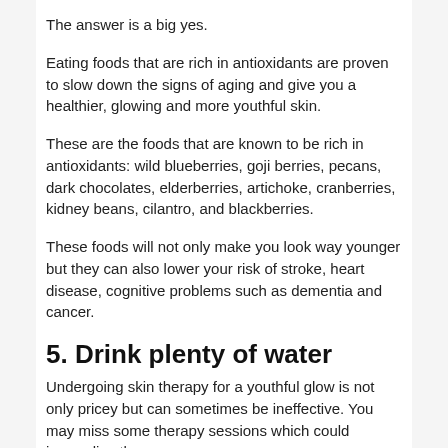The answer is a big yes.
Eating foods that are rich in antioxidants are proven to slow down the signs of aging and give you a healthier, glowing and more youthful skin.
These are the foods that are known to be rich in antioxidants: wild blueberries, goji berries, pecans, dark chocolates, elderberries, artichoke, cranberries, kidney beans, cilantro, and blackberries.
These foods will not only make you look way younger but they can also lower your risk of stroke, heart disease, cognitive problems such as dementia and cancer.
5. Drink plenty of water
Undergoing skin therapy for a youthful glow is not only pricey but can sometimes be ineffective. You may miss some therapy sessions which could jeopardize the